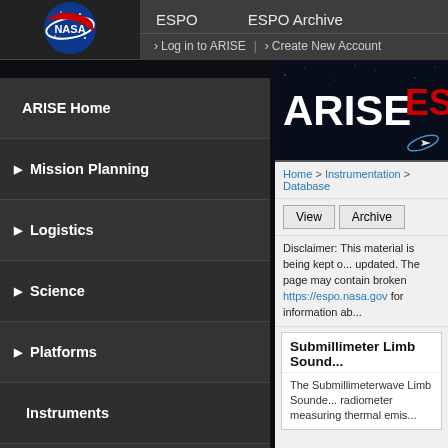[Figure (logo): NASA meatball logo in circular blue design with red swoosh and white NASA text]
ESPO    ESPO Archive
› Log in to ARISE  |  › Create New Account
ARISE Home
▶ Mission Planning
▶ Logistics
▶ Science
▶ Platforms
Instruments
C-130 Participation Forms
Participants
Photos
[Figure (screenshot): ARISE ESPO banner with large white ARISE text and red ES text on dark blue starfield background with paper airplane icon]
Home > Instrumentation > Database
View  Archive
Disclaimer: This material is being kept online for historical purposes. The page may contain broken links... https://espo.nasa.gov for information ab...
Submillimeter Limb Sound...
The Submillimeterwave Limb Sounder... radiometer measuring thermal emis...